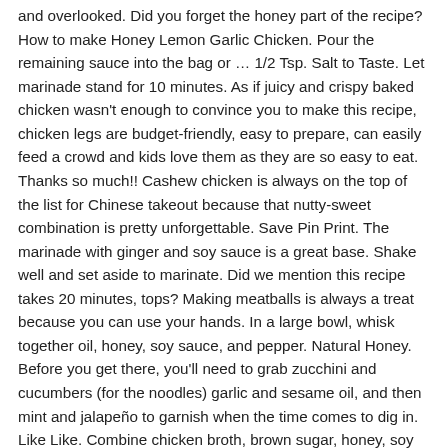and overlooked. Did you forget the honey part of the recipe? How to make Honey Lemon Garlic Chicken. Pour the remaining sauce into the bag or … 1/2 Tsp. Salt to Taste. Let marinade stand for 10 minutes. As if juicy and crispy baked chicken wasn't enough to convince you to make this recipe, chicken legs are budget-friendly, easy to prepare, can easily feed a crowd and kids love them as they are so easy to eat. Thanks so much!! Cashew chicken is always on the top of the list for Chinese takeout because that nutty-sweet combination is pretty unforgettable. Save Pin Print. The marinade with ginger and soy sauce is a great base. Shake well and set aside to marinate. Did we mention this recipe takes 20 minutes, tops? Making meatballs is always a treat because you can use your hands. In a large bowl, whisk together oil, honey, soy sauce, and pepper. Natural Honey. Before you get there, you'll need to grab zucchini and cucumbers (for the noodles) garlic and sesame oil, and then mint and jalapeño to garnish when the time comes to dig in. Like Like. Combine chicken broth, brown sugar, honey, soy sauce, garlic, and ginger in a saucepan over medium heat; bring to a gentle boil. I'm a culinary school graduate, cookbook author, and a mom who loves croissants! Spoon 4 tablespoons of marinade out of the bowl and reserve to use for … But we use even more Indonesian seasonings like a lot of garlic and honey to make them nice and sticky. Grill until juices run clear. Boil the honey, soy sauce, ginger, garlic, chili, and chili sauce for 5 minutes. Pair it in your favorite marinating containers until …